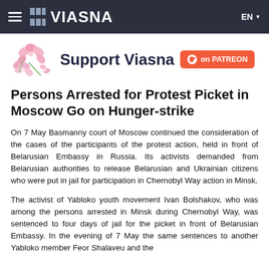VIASNA  EN
[Figure (illustration): Pink cherry blossom flowers illustration]
Support Viasna on PATREON
Persons Arrested for Protest Picket in Moscow Go on Hunger-strike
On 7 May Basmanny court of Moscow continued the consideration of the cases of the participants of the protest action, held in front of Belarusian Embassy in Russia. Its activists demanded from Belarusian authorities to release Belarusian and Ukrainian citizens who were put in jail for participation in Chernobyl Way action in Minsk.
The activist of Yabloko youth movement Ivan Bolshakov, who was among the persons arrested in Minsk during Chernobyl Way, was sentenced to four days of jail for the picket in front of Belarusian Embassy. In the evening of 7 May the same sentences to another Yabloko member Feor Shalavev and the